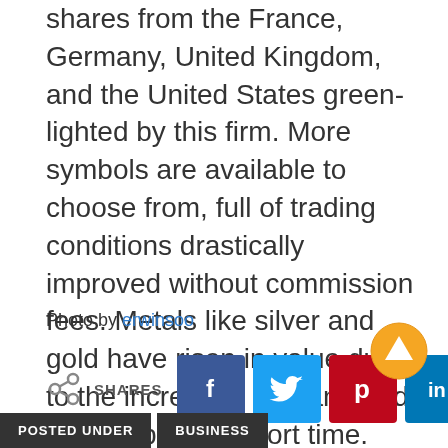shares from the France, Germany, United Kingdom, and the United States green-lighted by this firm. More symbols are available to choose from, full of trading conditions drastically improved without commission fees. Metals like silver and gold have risen in value due to the increased demand and low supply in a short time. They possess various accounts for the precious metals.
Photo by erwinsoo
[Figure (infographic): Social share buttons row with share icon and SHARES label, followed by Facebook (dark blue), Twitter (light blue), Pinterest (red), and LinkedIn (teal blue) square icon buttons]
[Figure (illustration): Orange circular scroll-to-top button with white upward arrow icon]
POSTED UNDER   BUSINESS